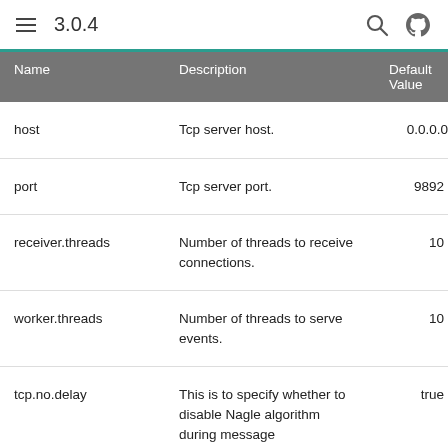3.0.4
| Name | Description | Default Value |
| --- | --- | --- |
| host | Tcp server host. | 0.0.0.0 |
| port | Tcp server port. | 9892 |
| receiver.threads | Number of threads to receive connections. | 10 |
| worker.threads | Number of threads to serve events. | 10 |
| tcp.no.delay | This is to specify whether to disable Nagle algorithm during message | true |